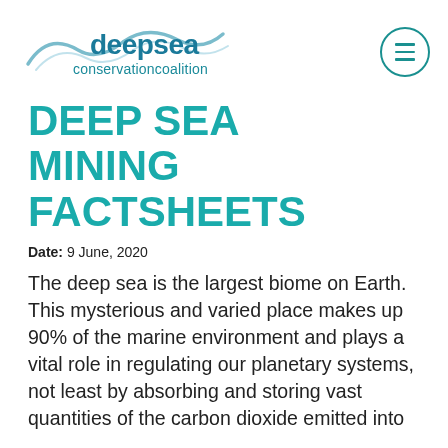[Figure (logo): Deep Sea Conservation Coalition logo with wave/bird graphic and teal text]
DEEP SEA MINING FACTSHEETS
Date: 9 June, 2020
The deep sea is the largest biome on Earth. This mysterious and varied place makes up 90% of the marine environment and plays a vital role in regulating our planetary systems, not least by absorbing and storing vast quantities of the carbon dioxide emitted into